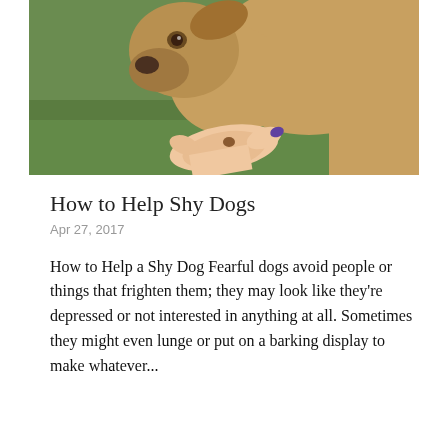[Figure (photo): A tan/golden dog sniffing or approaching a human hand held out with an open palm, with a green grassy background. The person has purple nail polish.]
How to Help Shy Dogs
Apr 27, 2017
How to Help a Shy Dog Fearful dogs avoid people or things that frighten them; they may look like they're depressed or not interested in anything at all. Sometimes they might even lunge or put on a barking display to make whatever...